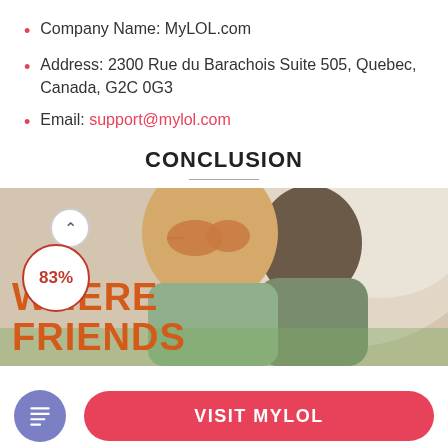Company Name: MyLOL.com
Address: 2300 Rue du Barachois Suite 505, Quebec, Canada, G2C 0G3
Email: support@mylol.com
CONCLUSION
[Figure (photo): Promotional image of two young people smiling with sunglasses, overlaid with orange text 'WHERE FRIENDS', a rating circle showing 83%, and an up-arrow icon.]
VISIT MYLOL